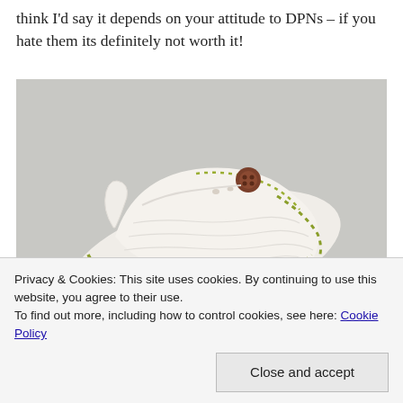think I'd say it depends on your attitude to DPNs – if you hate them its definitely not worth it!
[Figure (photo): A small knitted item, resembling a tiny bootie or slipper, in white yarn with yellow-green accent stitches along the edges and a small brown round button at the top.]
Privacy & Cookies: This site uses cookies. By continuing to use this website, you agree to their use.
To find out more, including how to control cookies, see here: Cookie Policy
Close and accept